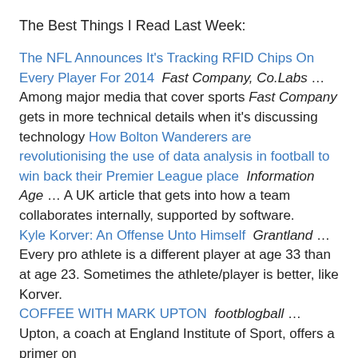The Best Things I Read Last Week:
The NFL Announces It's Tracking RFID Chips On Every Player For 2014   Fast Company, Co.Labs … Among major media that cover sports Fast Company gets in more technical details when it's discussing technology How Bolton Wanderers are revolutionising the use of data analysis in football to win back their Premier League place   Information Age … A UK article that gets into how a team collaborates internally, supported by software. Kyle Korver: An Offense Unto Himself   Grantland … Every pro athlete is a different player at age 33 than at age 23. Sometimes the athlete/player is better, like Korver. COFFEE WITH MARK UPTON   footblogball … Upton, a coach at England Institute of Sport, offers a primer on